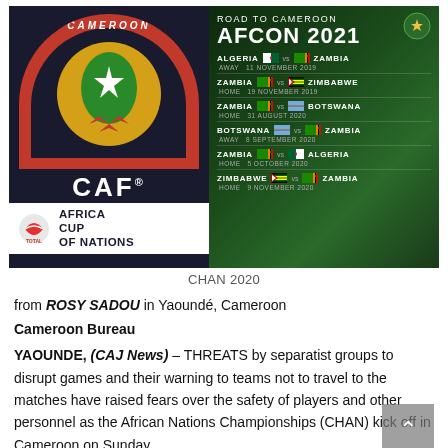[Figure (infographic): Composite image: Left side shows CAF Africa Cup of Nations Cameroon 2019 logo with globe, red arch, and Total sponsor. Right side shows 'Road to Cameroon AFCON 2021' schedule with match fixtures: Algeria vs Zambia (Away 11 November 2019), Zambia vs Zimbabwe (Home 19 November 2019), Zambia vs Botswana (Home 31 August 2020), Botswana vs Zambia (Away 8 September 2020), Zambia vs Algeria (Home 5 October 2020), Zimbabwe vs Zambia (Home 9 November 2020).]
CHAN 2020
from ROSY SADOU in Yaoundé, Cameroon
Cameroon Bureau
YAOUNDE, (CAJ News) – THREATS by separatist groups to disrupt games and their warning to teams not to travel to the matches have raised fears over the safety of players and other personnel as the African Nations Championships (CHAN) kick off in Cameroon on Sunday.